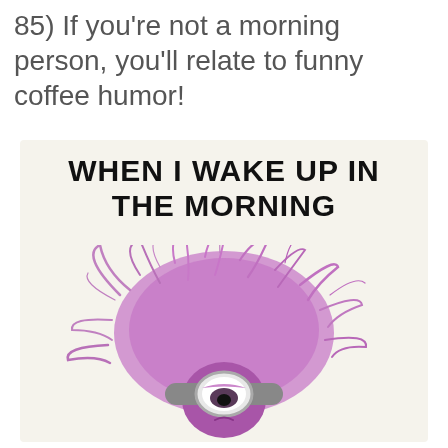85) If you're not a morning person, you'll relate to funny coffee humor!
[Figure (illustration): Meme image with light beige background showing bold black text 'WHEN I WAKE UP IN THE MORNING' above an illustration of a purple minion character with wild, messy purple hair sticking out in all directions and one sleepy eye visible]